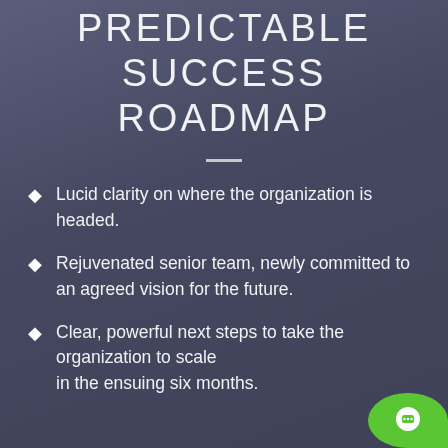PREDICTABLE SUCCESS ROADMAP
Lucid clarity on where the organization is headed.
Rejuvenated senior team, newly committed to an agreed vision for the future.
Clear, powerful next steps to take the organization to scale in the ensuing six months.